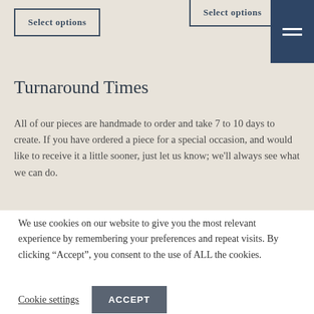Select options | Select options
Turnaround Times
All of our pieces are handmade to order and take 7 to 10 days to create. If you have ordered a piece for a special occasion, and would like to receive it a little sooner, just let us know; we'll always see what we can do.
We use cookies on our website to give you the most relevant experience by remembering your preferences and repeat visits. By clicking “Accept”, you consent to the use of ALL the cookies.
Cookie settings  ACCEPT